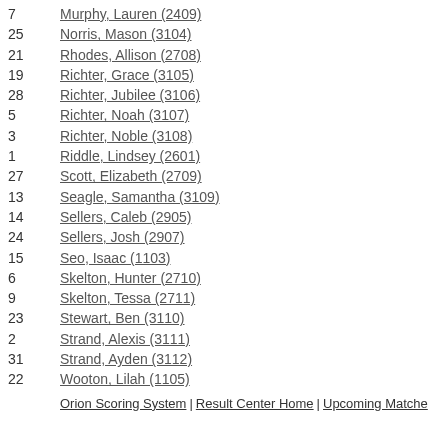7	Murphy, Lauren (2409)
25	Norris, Mason (3104)
21	Rhodes, Allison (2708)
19	Richter, Grace (3105)
28	Richter, Jubilee (3106)
5	Richter, Noah (3107)
3	Richter, Noble (3108)
1	Riddle, Lindsey (2601)
27	Scott, Elizabeth (2709)
13	Seagle, Samantha (3109)
14	Sellers, Caleb (2905)
24	Sellers, Josh (2907)
15	Seo, Isaac (1103)
6	Skelton, Hunter (2710)
9	Skelton, Tessa (2711)
23	Stewart, Ben (3110)
2	Strand, Alexis (3111)
31	Strand, Ayden (3112)
22	Wooton, Lilah (1105)
Orion Scoring System | Result Center Home | Upcoming Matches